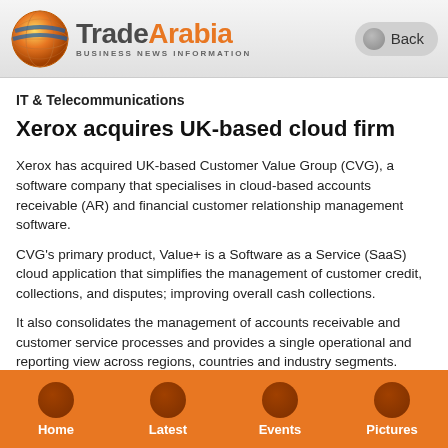TradeArabia — BUSINESS NEWS INFORMATION | Back
IT & Telecommunications
Xerox acquires UK-based cloud firm
Xerox has acquired UK-based Customer Value Group (CVG), a software company that specialises in cloud-based accounts receivable (AR) and financial customer relationship management software.
CVG's primary product, Value+ is a Software as a Service (SaaS) cloud application that simplifies the management of customer credit, collections, and disputes; improving overall cash collections.
It also consolidates the management of accounts receivable and customer service processes and provides a single operational and reporting view across regions, countries and industry segments.
The company's clients include Fortune 500 multi-national
Home | Latest | Events | Pictures